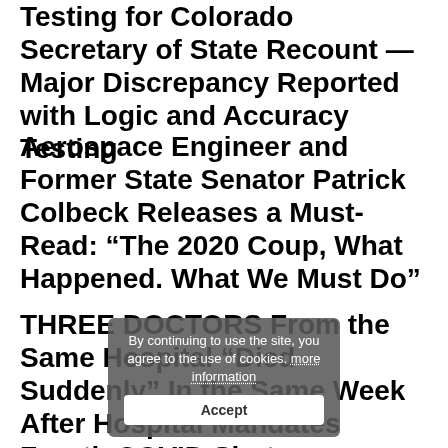Testing for Colorado Secretary of State Recount — Major Discrepancy Reported with Logic and Accuracy Testing
Aerospace Engineer and Former State Senator Patrick Colbeck Releases a Must-Read: “The 2020 Coup, What Happened. What We Must Do”
THREE DOCTORS From the Same Hospital “Died Suddenly” In the Same Week After Hospital Mandates Fourth COVID Shot
[Figure (screenshot): Cookie consent popup overlay: 'By continuing to use the site, you agree to the use of cookies. more information' with an Accept button, semi-transparent dark background]